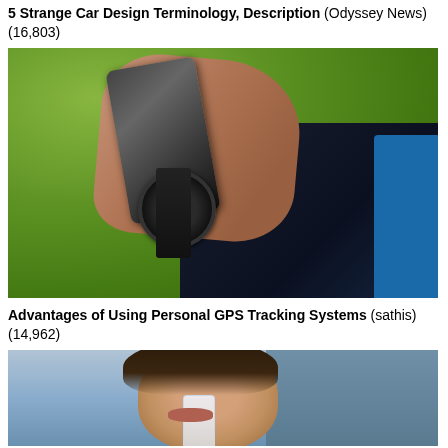5 Strange Car Design Terminology, Description (Odyssey News) (16,803)
[Figure (photo): Person holding a smartphone in one hand while wearing a GPS sports watch on their wrist, outdoors with green foliage in background, wearing a dark blue/black athletic jacket with blue trim]
Advantages of Using Personal GPS Tracking Systems (sathis) (14,962)
[Figure (photo): Young woman with dark hair drinking from a white bottle, eyes closed, against a blue/grey background, wearing athletic attire]